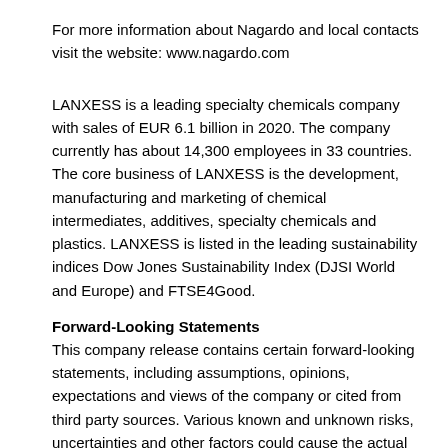For more information about Nagardo and local contacts visit the website: www.nagardo.com
LANXESS is a leading specialty chemicals company with sales of EUR 6.1 billion in 2020. The company currently has about 14,300 employees in 33 countries. The core business of LANXESS is the development, manufacturing and marketing of chemical intermediates, additives, specialty chemicals and plastics. LANXESS is listed in the leading sustainability indices Dow Jones Sustainability Index (DJSI World and Europe) and FTSE4Good.
Forward-Looking Statements
This company release contains certain forward-looking statements, including assumptions, opinions, expectations and views of the company or cited from third party sources. Various known and unknown risks, uncertainties and other factors could cause the actual results, financial position, development or performance of LANXESS AG to differ materially from the estimations expressed or implied herein. LANXESS AG does not guarantee that the assumptions underlying such forward-looking statements are free from errors, nor does it accept any responsibility for the future accuracy of the opinions expressed in this presentation or the actual occurrence of